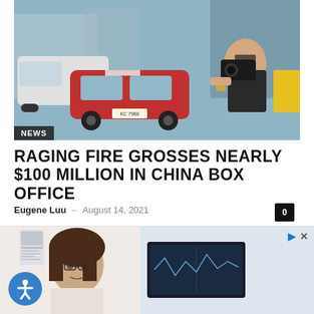[Figure (photo): Street scene photo showing a man holding a camera, beside a red Mini Cooper and white van. A NEWS badge is overlaid at the bottom left.]
RAGING FIRE GROSSES NEARLY $100 MILLION IN CHINA BOX OFFICE
Eugene Luu – August 14, 2021
[Figure (photo): Advertisement banner showing a woman smiling in front of a medical monitor, with an accessibility icon and play/close controls.]